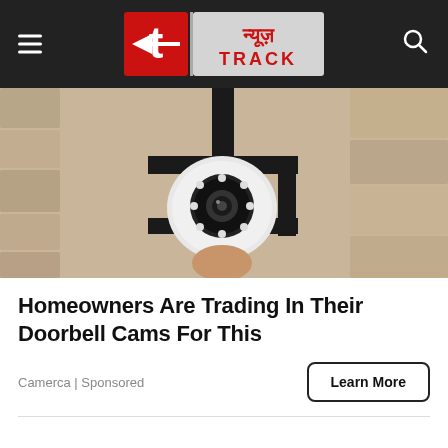न्यूज़ TRACK
[Figure (photo): A white security/CCTV camera mounted on a wall bracket, viewed from below, showing LED ring and camera lens, with textured stone wall background.]
Homeowners Are Trading In Their Doorbell Cams For This
Camerca | Sponsored
Learn More